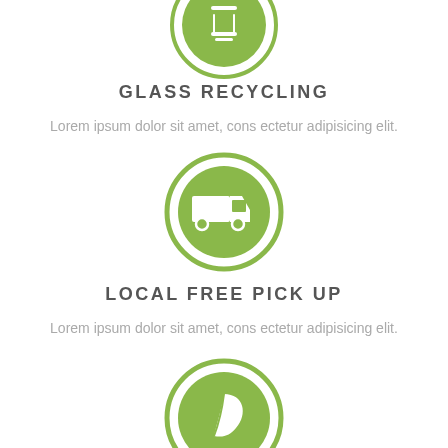[Figure (illustration): Green circle icon with white recycling/glass symbol, partially cropped at top]
GLASS RECYCLING
Lorem ipsum dolor sit amet, cons ectetur adipisicing elit.
[Figure (illustration): Green circle icon with white delivery truck symbol]
LOCAL FREE PICK UP
Lorem ipsum dolor sit amet, cons ectetur adipisicing elit.
[Figure (illustration): Green circle icon with white leaf symbol, partially cropped at bottom]